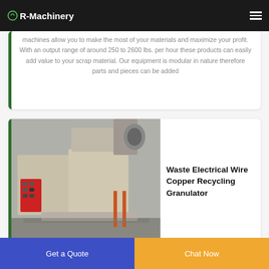R-Machinery
machines allow you to make the most of your materials and maximize your profit. With an output range of around 250 to 2600 lbs. per hour these products can easily add value to your scrap material. Our equipment is modular in nature therefore parts and pieces can be added
[Figure (photo): Industrial waste electrical wire copper recycling granulator machine in a warehouse setting]
Waste Electrical Wire Copper Recycling Granulator
Get a Quote
Chat Now